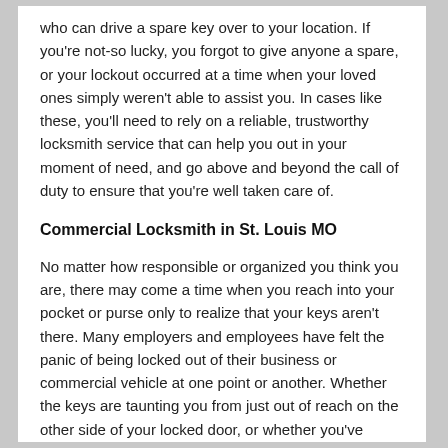who can drive a spare key over to your location. If you're not-so lucky, you forgot to give anyone a spare, or your lockout occurred at a time when your loved ones simply weren't able to assist you. In cases like these, you'll need to rely on a reliable, trustworthy locksmith service that can help you out in your moment of need, and go above and beyond the call of duty to ensure that you're well taken care of.
Commercial Locksmith in St. Louis MO
No matter how responsible or organized you think you are, there may come a time when you reach into your pocket or purse only to realize that your keys aren't there. Many employers and employees have felt the panic of being locked out of their business or commercial vehicle at one point or another. Whether the keys are taunting you from just out of reach on the other side of your locked door, or whether you've misplaced them entirely, the loss can be devastating and highly stressful. It's because of this that, while other occupations are fading away and being replaced by technology, locksmiths are still in very high demand.